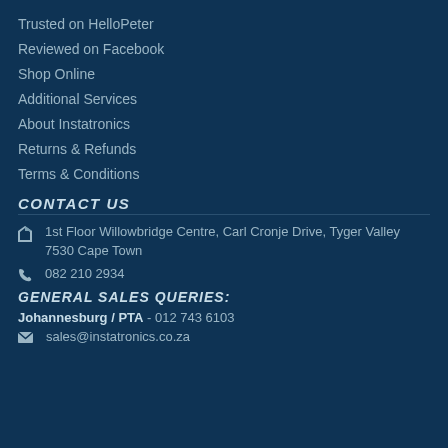Trusted on HelloPeter
Reviewed on Facebook
Shop Online
Additional Services
About Instatronics
Returns & Refunds
Terms & Conditions
CONTACT US
1st Floor Willowbridge Centre, Carl Cronje Drive, Tyger Valley 7530 Cape Town
082 210 2934
GENERAL SALES QUERIES:
Johannesburg / PTA - 012 743 6103
sales@instatronics.co.za